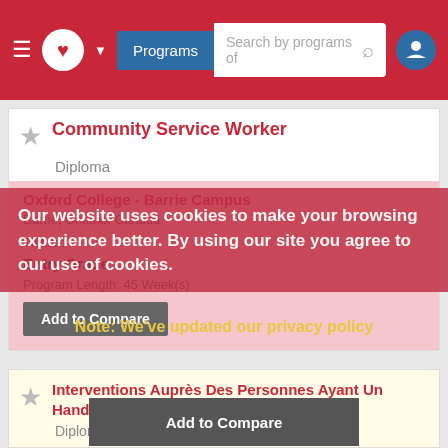Programs | Search by programs of
Community Service Worker
Diploma
Oxford College - Barrie Campus
Barrie, Ontario, Canada
Tuition:
Entry Grade:
Program Length: 45 Week(s)
Add to Compare
Our website uses cookies to make your browsing experience better. By using our site you agree to our use of cookies.
Note: We've updated our privacy policy
View policy (PDF)
Close and don't show again
Interventions Auprès Des Personnes Ayant Un Handicap
Diploma